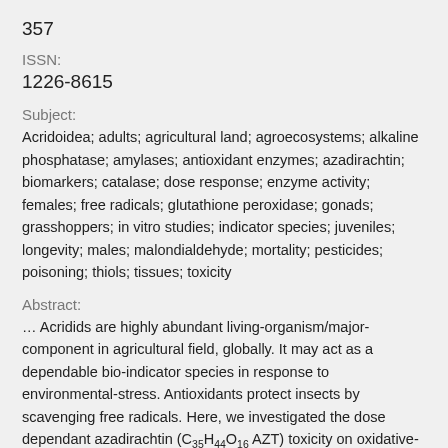357
ISSN:
1226-8615
Subject:
Acridoidea; adults; agricultural land; agroecosystems; alkaline phosphatase; amylases; antioxidant enzymes; azadirachtin; biomarkers; catalase; dose response; enzyme activity; females; free radicals; glutathione peroxidase; gonads; grasshoppers; in vitro studies; indicator species; juveniles; longevity; males; malondialdehyde; mortality; pesticides; poisoning; thiols; tissues; toxicity
Abstract:
... Acridids are highly abundant living-organism/major-component in agricultural field, globally. It may act as a dependable bio-indicator species in response to environmental-stress. Antioxidants protect insects by scavenging free radicals. Here, we investigated the dose dependant azadirachtin (C35H44O16 AZT) toxicity on oxidative-biomarker; Alkaline-phosphatase (ALP),